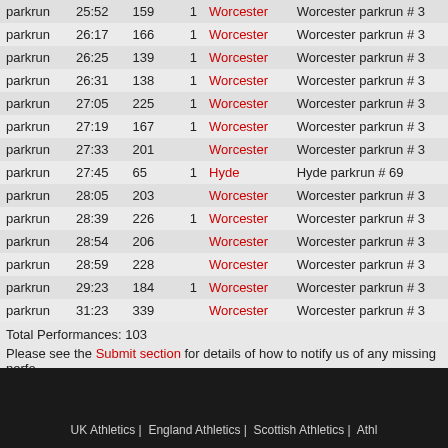| Type | Time | Pos | AG | Event | Race |
| --- | --- | --- | --- | --- | --- |
| parkrun | 25:52 | 159 | 1 | Worcester | Worcester parkrun # 3 |
| parkrun | 26:17 | 166 | 1 | Worcester | Worcester parkrun # 3 |
| parkrun | 26:25 | 139 | 1 | Worcester | Worcester parkrun # 3 |
| parkrun | 26:31 | 138 | 1 | Worcester | Worcester parkrun # 3 |
| parkrun | 27:05 | 225 | 1 | Worcester | Worcester parkrun # 3 |
| parkrun | 27:19 | 167 | 1 | Worcester | Worcester parkrun # 3 |
| parkrun | 27:33 | 201 |  | Worcester | Worcester parkrun # 3 |
| parkrun | 27:45 | 65 | 1 | Hyde | Hyde parkrun # 69 |
| parkrun | 28:05 | 203 |  | Worcester | Worcester parkrun # 3 |
| parkrun | 28:39 | 226 | 1 | Worcester | Worcester parkrun # 3 |
| parkrun | 28:54 | 206 |  | Worcester | Worcester parkrun # 3 |
| parkrun | 28:59 | 228 |  | Worcester | Worcester parkrun # 3 |
| parkrun | 29:23 | 184 | 1 | Worcester | Worcester parkrun # 3 |
| parkrun | 31:23 | 339 |  | Worcester | Worcester parkrun # 3 |
Total Performances: 103
Please see the Submit section for details of how to notify us of any missing perfo
Blog
None
UK Athletics | England Athletics | Scottish Athletics | Athl